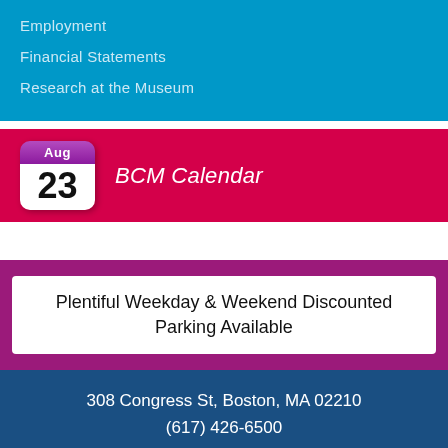Employment
Financial Statements
Research at the Museum
[Figure (infographic): BCM Calendar icon showing Aug 23 on a red background]
Plentiful Weekday & Weekend Discounted Parking Available
308 Congress St, Boston, MA 02210
(617) 426-6500